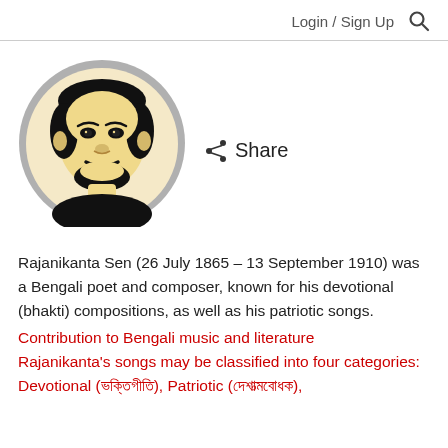Login / Sign Up 🔍
[Figure (illustration): Circular portrait illustration of Rajanikanta Sen, a man with a mustache and beard depicted in black and cream/beige tones within a gray-bordered circle]
Share
Rajanikanta Sen (26 July 1865 – 13 September 1910) was a Bengali poet and composer, known for his devotional (bhakti) compositions, as well as his patriotic songs.
Contribution to Bengali music and literature
Rajanikanta's songs may be classified into four categories: Devotional (ভক্তিগীতি), Patriotic (দেশাত্মবোধক),